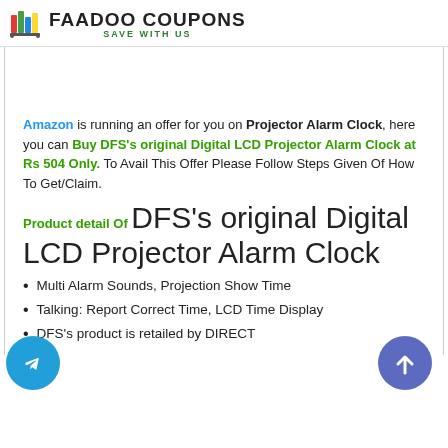FAADOO COUPONS — SAVE WITH US
Amazon is running an offer for you on Projector Alarm Clock, here you can Buy DFS's original Digital LCD Projector Alarm Clock at Rs 504 Only. To Avail This Offer Please Follow Steps Given Of How To Get/Claim.
Product detail Of DFS's original Digital LCD Projector Alarm Clock
Multi Alarm Sounds, Projection Show Time
Talking: Report Correct Time, LCD Time Display
DFS's product is retailed by DIRECT...